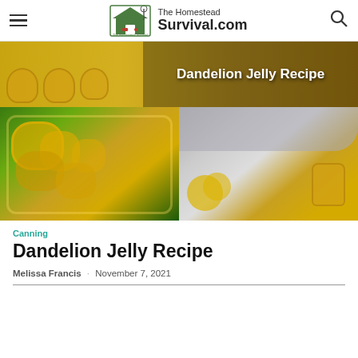The Homestead Survival.com
[Figure (photo): Collage of dandelion jelly recipe images: jars of golden jelly at top, bowl of dandelion flowers bottom left, jar of jelly with dandelion flowers bottom right. Text overlay reads 'Dandelion Jelly Recipe'.]
Canning
Dandelion Jelly Recipe
Melissa Francis · November 7, 2021